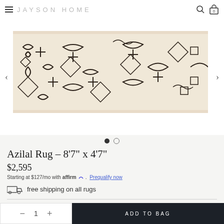JAYSON HOME
[Figure (photo): Close-up photo of an Azilal rug with cream/beige background and dark geometric/abstract patterns]
Azilal Rug – 8'7" x 4'7"
$2,595
Starting at $127/mo with affirm. Prequalify now
free shipping on all rugs
1  ADD TO BAG